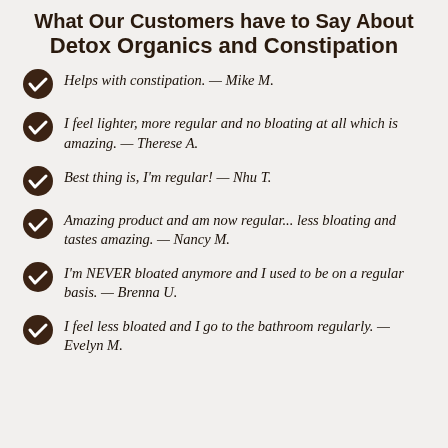What Our Customers have to Say About Detox Organics and Constipation
Helps with constipation. — Mike M.
I feel lighter, more regular and no bloating at all which is amazing. — Therese A.
Best thing is, I'm regular! — Nhu T.
Amazing product and am now regular... less bloating and tastes amazing. — Nancy M.
I'm NEVER bloated anymore and I used to be on a regular basis. — Brenna U.
I feel less bloated and I go to the bathroom regularly. — Evelyn M.